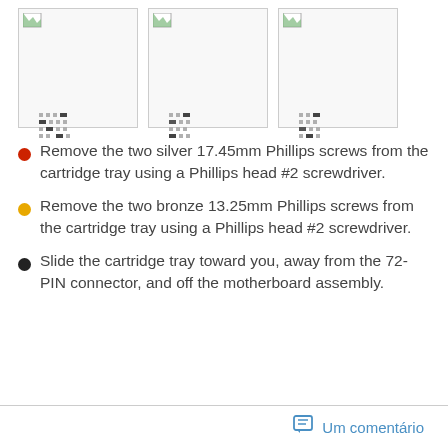[Figure (photo): Three placeholder images in a row showing partially loaded or broken image icons with dot patterns]
Remove the two silver 17.45mm Phillips screws from the cartridge tray using a Phillips head #2 screwdriver.
Remove the two bronze 13.25mm Phillips screws from the cartridge tray using a Phillips head #2 screwdriver.
Slide the cartridge tray toward you, away from the 72-PIN connector, and off the motherboard assembly.
Um comentário